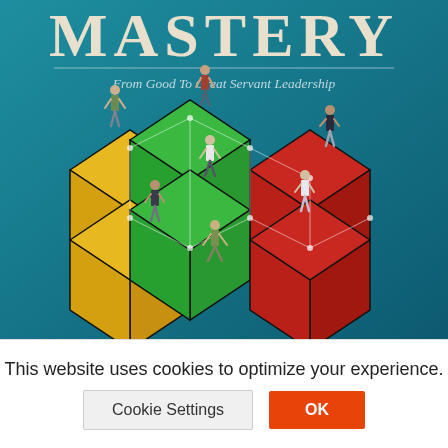[Figure (illustration): Book cover image with teal/blue background showing a large stylized Rubik's cube with small human figures standing on top of its colored sections (yellow, green, red). The cube pieces are arranged in a partially solved puzzle configuration. A grid of white dots overlays the scene. The book title 'MASTERY' appears at the top in large serif letters, with a horizontal rule and subtitle 'From Good To Great Servant Leadership' below.]
This website uses cookies to optimize your experience.
Cookie Settings
OK